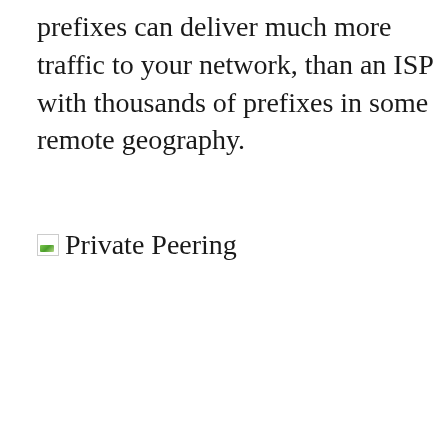prefixes can deliver much more traffic to your network, than an ISP with thousands of prefixes in some remote geography.
Private Peering